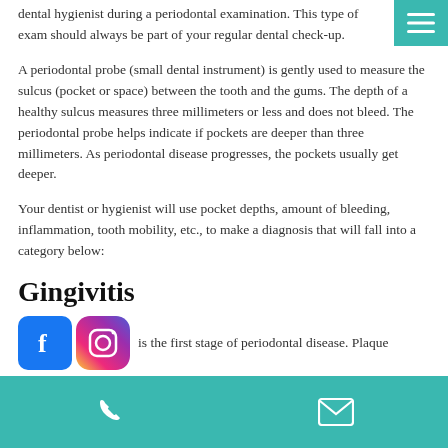dental hygienist during a periodontal examination. This type of exam should always be part of your regular dental check-up.
A periodontal probe (small dental instrument) is gently used to measure the sulcus (pocket or space) between the tooth and the gums. The depth of a healthy sulcus measures three millimeters or less and does not bleed. The periodontal probe helps indicate if pockets are deeper than three millimeters. As periodontal disease progresses, the pockets usually get deeper.
Your dentist or hygienist will use pocket depths, amount of bleeding, inflammation, tooth mobility, etc., to make a diagnosis that will fall into a category below:
Gingivitis
is the first stage of periodontal disease. Plaque
phone | email